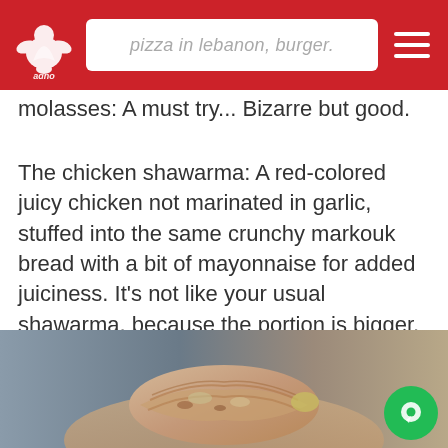pizza in lebanon, burger.
molasses: A must try... Bizarre but good.
The chicken shawarma: A red-colored juicy chicken not marinated in garlic, stuffed into the same crunchy markouk bread with a bit of mayonnaise for added juiciness. It's not like your usual shawarma, because the portion is bigger, tenderer and the crunchy bread makes all the difference. Cut into bites, each is enjoyed calmly. I liked it!
[Figure (photo): Close-up photo of a chicken shawarma wrap held in a hand, showing layers of crunchy markouk bread wrapped around juicy chicken filling, with blurred background.]